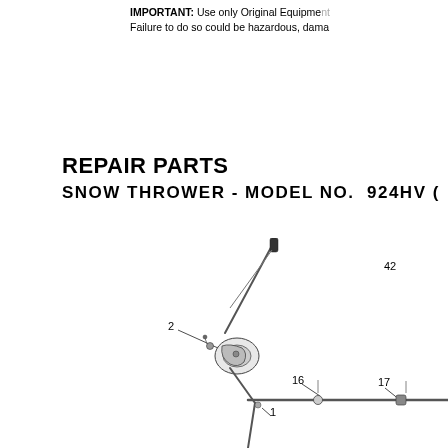IMPORTANT: Use only Original Equipment Manufacturer (O.E.M.) replacement parts and accessories. Failure to do so could be hazardous, damage your unit, and void your warranty.
REPAIR PARTS
SNOW THROWER - MODEL NO.  924HV (
[Figure (engineering-diagram): Exploded parts diagram of a snow thrower handlebar/control assembly showing numbered parts including part numbers 1, 2, 16, 17, and 42. The diagram shows handle grips, control levers, and handlebar tubes with callout leader lines.]